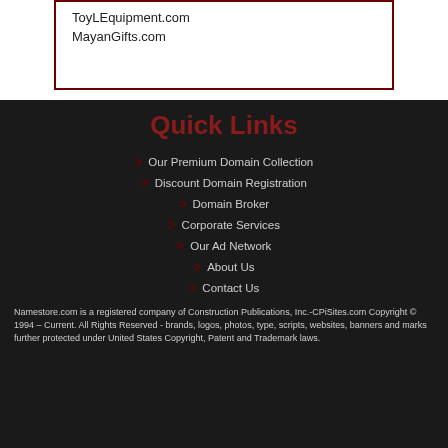ToyLEquipment.com
MayanGifts.com
Quick Links
Our Premium Domain Collection
Discount Domain Registration
Domain Broker
Corporate Services
Our Ad Network
About Us
Contact Us
Namestore.com is a registered company of Construction Publications, Inc.-CPiSites.com Copyright © 1994 – Current. All Rights Reserved - brands, logos, photos, type, scripts, websites, banners and marks further protected under United States Copyright, Patent and Trademark laws.